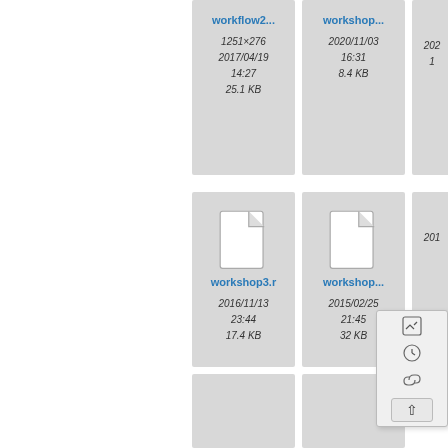[Figure (screenshot): File browser showing file cards for workflow2..., workshop..., workshop3.r, workshop..., and partial cards, with file metadata including dates and sizes. A context menu is visible in the bottom right.]
workflow2...
1251×276
2017/04/19
14:27
25.1 KB
workshop...
2020/11/03
16:31
8.4 KB
workshop3.r
2016/11/13
23:44
17.4 KB
workshop...
2015/02/25
21:45
32 KB